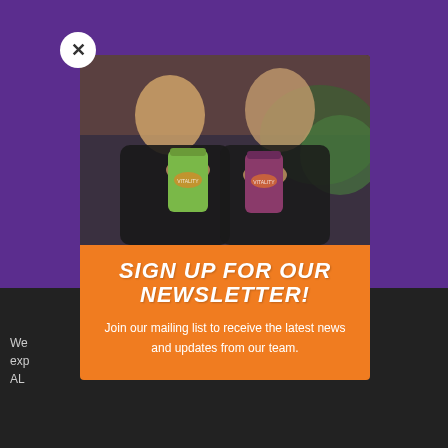[Figure (photo): Two women smiling and holding up branded smoothie cups toward the camera, one green and one purple, outside a store with brick wall and greenery in background.]
SIGN UP FOR OUR NEWSLETTER!
Join our mailing list to receive the latest news and updates from our team.